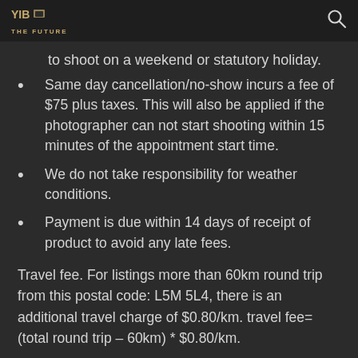YIB THE FUTURE
to shoot on a weekend or statutory holiday.
Same day cancellation/no-show incurs a fee of $75 plus taxes. This will also be applied if the photographer can not start shooting within 15 minutes of the appointment start time.
We do not take responsibility for weather conditions.
Payment is due within 14 days of receipt of product to avoid any late fees.
Travel fee. For listings more than 60km round trip from this postal code: L5M 5L4, there is an additional travel charge of $0.80/km. travel fee= (total round trip – 60km) * $0.80/km.